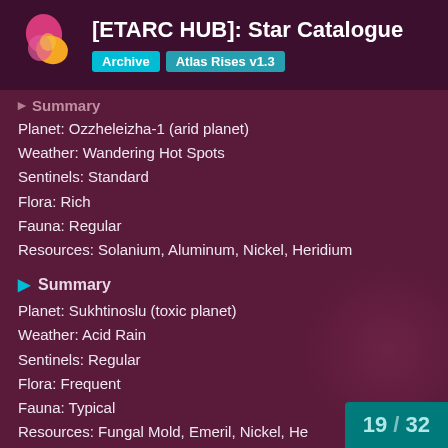[ETARC HUB]: Star Catalogue | Archive | Atlas Rises v1.3
▸ Summary
Planet: Ozzheleizha-1 (arid planet)
Weather: Wandering Hot Spots
Sentinels: Standard
Flora: Rich
Fauna: Regular
Resources: Solanium, Aluminum, Nickel, Heridium
▶ Summary
Planet: Sukhtinoslu (toxic planet)
Weather: Acid Rain
Sentinels: Regular
Flora: Frequent
Fauna: Typical
Resources: Fungal Mold, Emeril, Nickel, He
19 / 32